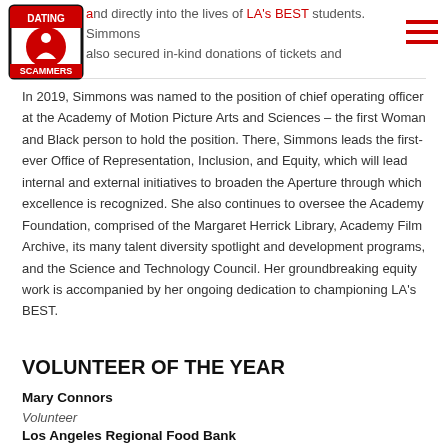Dating Scammers logo and navigation
and directly into the lives of LA's BEST students. Simmons also secured in-kind donations of tickets and transportation to LA Sports, generating magical field trips for LA's BEST children.
In 2019, Simmons was named to the position of chief operating officer at the Academy of Motion Picture Arts and Sciences – the first Woman and Black person to hold the position. There, Simmons leads the first-ever Office of Representation, Inclusion, and Equity, which will lead internal and external initiatives to broaden the Aperture through which excellence is recognized. She also continues to oversee the Academy Foundation, comprised of the Margaret Herrick Library, Academy Film Archive, its many talent diversity spotlight and development programs, and the Science and Technology Council. Her groundbreaking equity work is accompanied by her ongoing dedication to championing LA's BEST.
VOLUNTEER OF THE YEAR
Mary Connors
Volunteer
Los Angeles Regional Food Bank
Mary Connors is passionate about providing food relief to as many